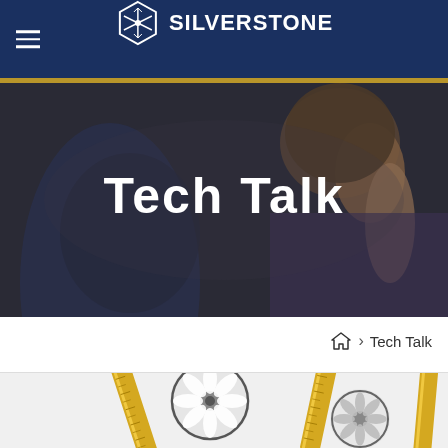SilverStone
Tech Talk
Home > Tech Talk
[Figure (photo): Product image strip showing computer cooling fans with decorative yellow measuring rulers]